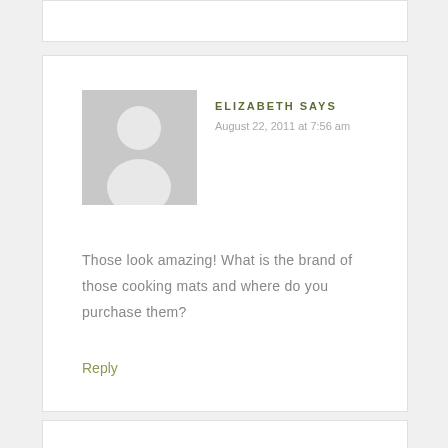[Figure (illustration): Generic grey avatar placeholder image showing a silhouette of a person (head and shoulders) on a light grey background]
ELIZABETH SAYS
August 22, 2011 at 7:56 am
Those look amazing! What is the brand of those cooking mats and where do you purchase them?
Reply